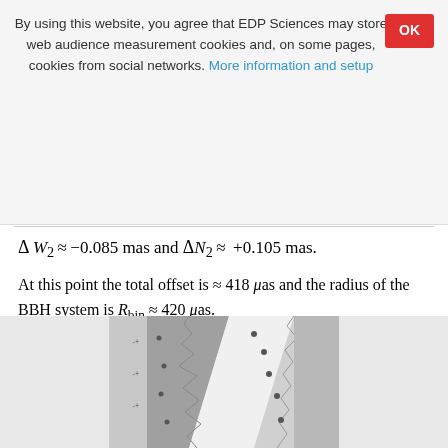By using this website, you agree that EDP Sciences may store web audience measurement cookies and, on some pages, cookies from social networks. More information and setup
At this point the total offset is ≈ 418 μas and the radius of the BBH system is R_bin ≈ 420 μas.
[Figure (photo): Grayscale scientific image showing a diagonal structure with varying shades, likely an astronomical or simulation image.]